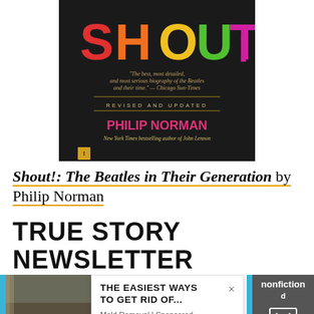[Figure (photo): Book cover of 'Shout!' by Philip Norman — black background with colorful letters S-H-O-U-T! in red, orange, yellow, green, magenta. Subtitle: 'The best, most detailed, and most serious biography of the Beatles and their time.' — Chicago Sun-Times. REVISED AND UPDATED. Author: PHILIP NORMAN, New York Times bestselling author of John Lennon.]
Shout!: The Beatles in Their Generation by Philip Norman
TRUE STORY NEWSLETTER
Sign up for True Story to receive nonfiction...
[Figure (photo): Mold on a wall — advertisement image for mold removal]
THE EASIEST WAYS TO GET RID OF... Mold Removal | Sponsored